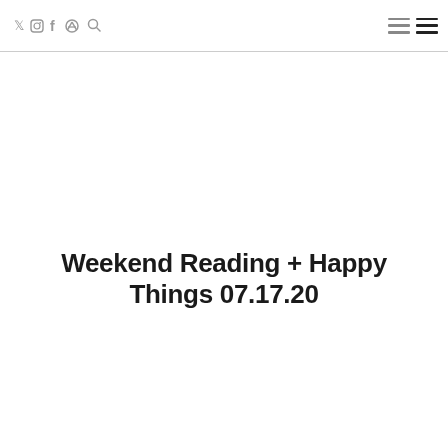Twitter Instagram Facebook Search | menu menu
Weekend Reading + Happy Things 07.17.20